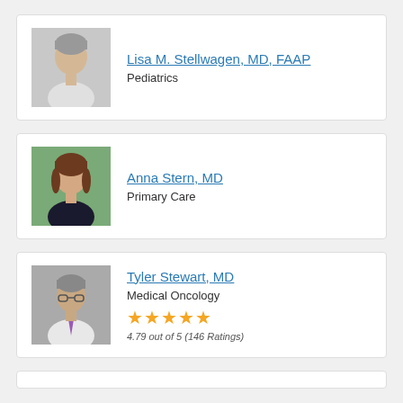[Figure (photo): Professional headshot of Dr. Lisa M. Stellwagen, elderly woman with short gray hair, wearing white jacket]
Lisa M. Stellwagen, MD, FAAP
Pediatrics
[Figure (photo): Professional headshot of Dr. Anna Stern, woman with brown hair, smiling outdoors]
Anna Stern, MD
Primary Care
[Figure (photo): Professional headshot of Dr. Tyler Stewart, middle-aged man with glasses, wearing white coat and tie]
Tyler Stewart, MD
Medical Oncology
4.79 out of 5 (146 Ratings)